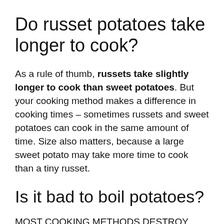Do russet potatoes take longer to cook?
As a rule of thumb, russets take slightly longer to cook than sweet potatoes. But your cooking method makes a difference in cooking times – sometimes russets and sweet potatoes can cook in the same amount of time. Size also matters, because a large sweet potato may take more time to cook than a tiny russet.
Is it bad to boil potatoes?
MOST COOKING METHODS DESTROY THE NUTRIENTS IN POTATOES. While boiling potatoes does cause a small loss of